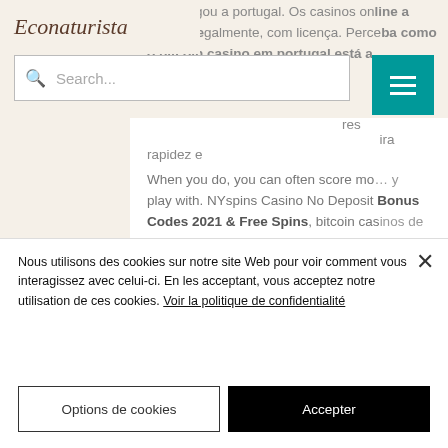Econaturista
Search...
não chegou a portugal. Os casinos online a operar legalmente, com licença. Perceba como o bitcoin casino em portugal está a ... res ... ira rapidez e
When you do, you can often score mo... y play with. NYspins Casino No Deposit Bonus Codes 2021 & Free Spins, bitcoin casinos de portugal. NYspins Casino was introduced into the world of gaming in 2016. They provide you with enough options for your type.
Nous utilisons des cookies sur notre site Web pour voir comment vous interagissez avec celui-ci. En les acceptant, vous acceptez notre utilisation de ces cookies. Voir la politique de confidentialité
Options de cookies
Accepter